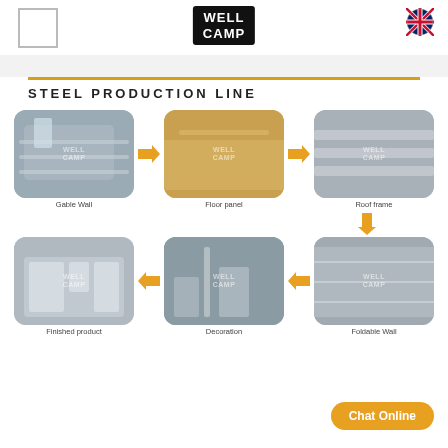WELLCAMP
STEEL  PRODUCTION  LINE
[Figure (infographic): Steel production line flowchart showing 6 steps: Gable Wall → Floor panel → Roof frame → Foldable Wall → Decoration → Finished product, arranged in two rows with orange arrows connecting each step. Each step has a photo thumbnail with WELLCAMP watermark and a label below.]
Chat Online